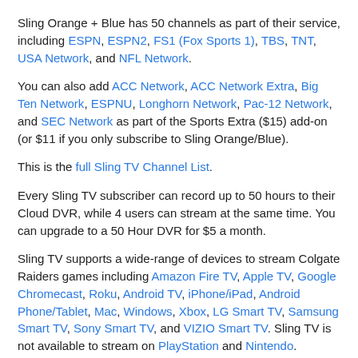Sling Orange + Blue has 50 channels as part of their service, including ESPN, ESPN2, FS1 (Fox Sports 1), TBS, TNT, USA Network, and NFL Network.
You can also add ACC Network, ACC Network Extra, Big Ten Network, ESPNU, Longhorn Network, Pac-12 Network, and SEC Network as part of the Sports Extra ($15) add-on (or $11 if you only subscribe to Sling Orange/Blue).
This is the full Sling TV Channel List.
Every Sling TV subscriber can record up to 50 hours to their Cloud DVR, while 4 users can stream at the same time. You can upgrade to a 50 Hour DVR for $5 a month.
Sling TV supports a wide-range of devices to stream Colgate Raiders games including Amazon Fire TV, Apple TV, Google Chromecast, Roku, Android TV, iPhone/iPad, Android Phone/Tablet, Mac, Windows, Xbox, LG Smart TV, Samsung Smart TV, Sony Smart TV, and VIZIO Smart TV. Sling TV is not available to stream on PlayStation and Nintendo.
Get 50% OFF   $65 / month